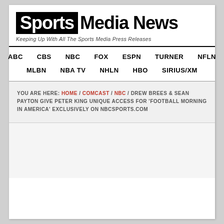[Figure (logo): Sports Media News logo with 'Sports' in white on black background and 'Media News' in black text]
Keeping Up With All The Sports Media Press Releases
ABC  CBS  NBC  FOX  ESPN  TURNER  NFLN  MLBN  NBA TV  NHLN  HBO  SIRIUS/XM
YOU ARE HERE: HOME / COMCAST / NBC / DREW BREES & SEAN PAYTON GIVE PETER KING UNIQUE ACCESS FOR 'FOOTBALL MORNING IN AMERICA' EXCLUSIVELY ON NBCSPORTS.COM